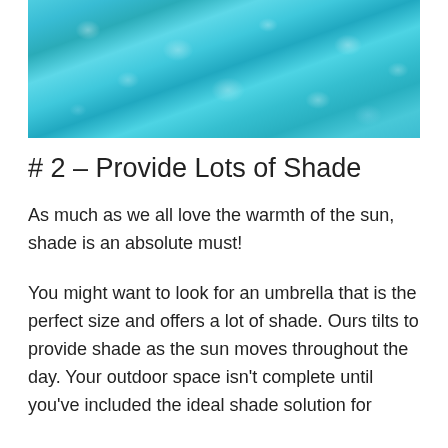[Figure (photo): Aerial view of clear blue swimming pool water with light reflections creating rippling patterns on the surface]
# 2 – Provide Lots of Shade
As much as we all love the warmth of the sun, shade is an absolute must!
You might want to look for an umbrella that is the perfect size and offers a lot of shade. Ours tilts to provide shade as the sun moves throughout the day. Your outdoor space isn't complete until you've included the ideal shade solution for